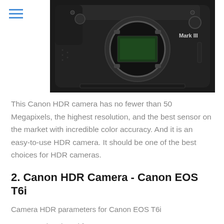[Figure (photo): Canon EOS DSLR camera body (Mark III) shown from the front without lens, on a dark background. White text 'Mark III' visible on the camera body.]
This Canon HDR camera has no fewer than 50 Megapixels, the highest resolution, and the best sensor on the market with incredible color accuracy. And it is an easy-to-use HDR camera. It should be one of the best choices for HDR cameras.
2. Canon HDR Camera - Canon EOS T6i
Camera HDR parameters for Canon EOS T6i
Auto-bracketed frames: 3
Max EV step increment: 2